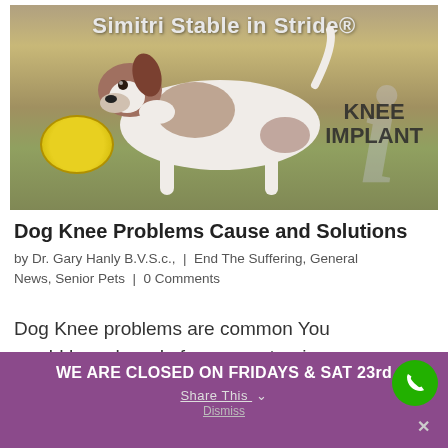[Figure (photo): Advertisement banner for Simitri Stable in Stride knee implant product, showing a Jack Russell terrier running with a yellow frisbee in its mouth on a grassy field. Text overlay reads 'Simitri Stable in Stride®' at the top and 'KNEE IMPLANT' on the right side, with a large italic 'i' watermark.]
Dog Knee Problems Cause and Solutions
by Dr. Gary Hanly B.V.S.c.,  |  End The Suffering, General News, Senior Pets  |  0 Comments
Dog Knee problems are common You would have heard of a person tearing a
WE ARE CLOSED ON FRIDAYS & SAT 23rd
Share This  ∨
Dismiss